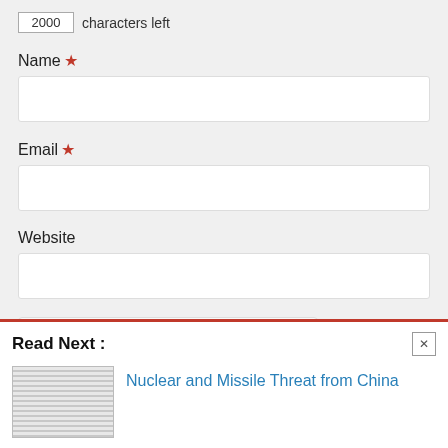2000 characters left
Name *
Email *
Website
[Figure (other): reCAPTCHA widget with checkbox labeled I'm not a robot, reCAPTCHA logo and Privacy - Terms links]
Read Next :
Nuclear and Missile Threat from China